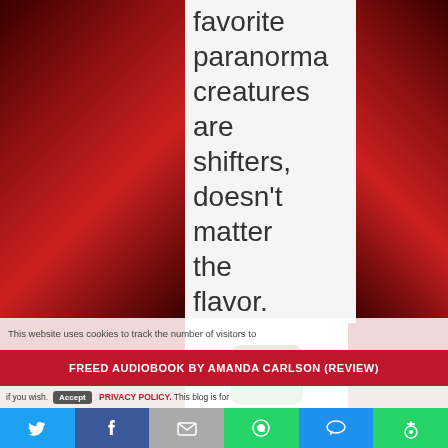[Figure (screenshot): Paranormal dark red background with glowing creature eyes on left and right sides of screen, with white content area in the center showing partial text]
favorite paranormal creatures are shifters, doesn't matter the flavor.
[Figure (screenshot): Green share/rotate icon button]
This website uses cookies to track the number of visitors to the
FREED AUDIOBOOK BY AMANDA CARLSON (REVIEW)
if you wish. Accept PRIVACY POLICY. This blog is for
Risk It All Audiobook by
Nethe
[Figure (screenshot): Social share bar with Twitter, Facebook, Email, WhatsApp, SMS, and More buttons]